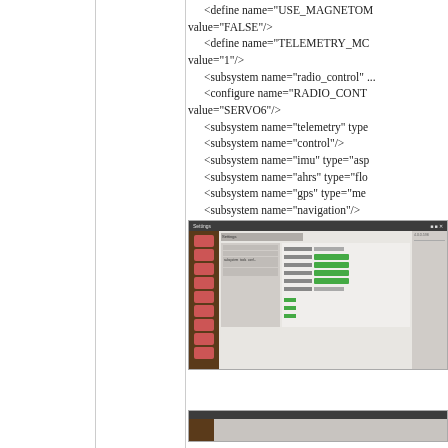<define name="USE_MAGNETOM value="FALSE"/>
    <define name="TELEMETRY_MC value="1"/>
    <subsystem name="radio_control" ...
    <configure name="RADIO_CONTR value="SERVO6"/>
    <subsystem name="telemetry" type...
    <subsystem name="control"/>
    <subsystem name="imu" type="asp...
    <subsystem name="ahrs" type="flo...
    <subsystem name="gps" type="me...
    <subsystem name="navigation"/>
    <subsystem name="ins" type="alt_...
    </firmware>
[Figure (screenshot): Screenshot of a software configuration UI showing subsystem settings with green status indicators and sidebar icons]
[Figure (screenshot): Partial screenshot of another software UI window (bottom of page, partially visible)]